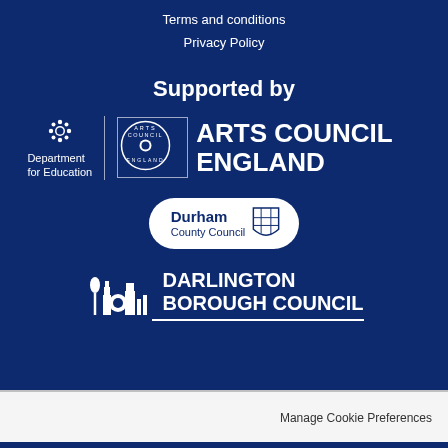Terms and conditions
Privacy Policy
Supported by
[Figure (logo): Arts Council England logo alongside Department for Education crest — two logos side by side with vertical divider, Arts Council England text in large bold white letters]
[Figure (logo): Durham County Council logo in white oval with shield crest]
[Figure (logo): Darlington Borough Council logo with white icon and bold uppercase text, underline beneath]
Manage Cookie Preferences